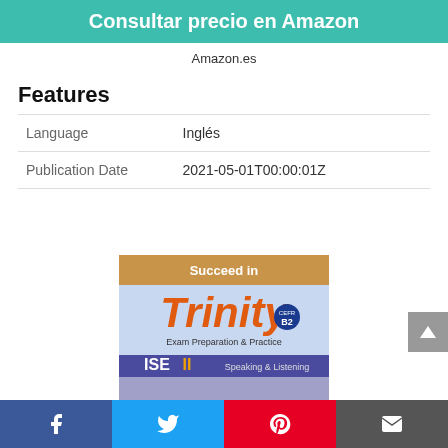Consultar precio en Amazon
Amazon.es
Features
| Language | Inglés |
| Publication Date | 2021-05-01T00:00:01Z |
[Figure (photo): Book cover: 'Succeed in Trinity B2 CEFR – Exam Preparation & Practice, ISE II Speaking & Listening']
Facebook | Twitter | Pinterest | Mail